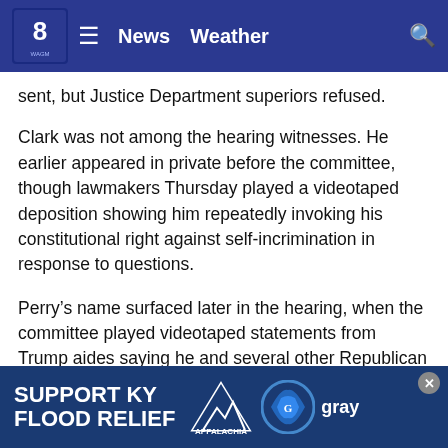News   Weather
sent, but Justice Department superiors refused.
Clark was not among the hearing witnesses. He earlier appeared in private before the committee, though lawmakers Thursday played a videotaped deposition showing him repeatedly invoking his constitutional right against self-incrimination in response to questions.
Perry’s name surfaced later in the hearing, when the committee played videotaped statements from Trump aides saying he and several other Republican members of Congress sought pardons from the president that would shield them from criminal prosecution.
Perry and fellow GOP Reps. Andy Biggs of Arizona, Mo Brooks of Alabama, Matt Gaetz of Florida and Louie Gohme… et the elector… ed
[Figure (other): Support KY Flood Relief advertisement banner with Appalachia Rises mountain logo and Gray Television logo]